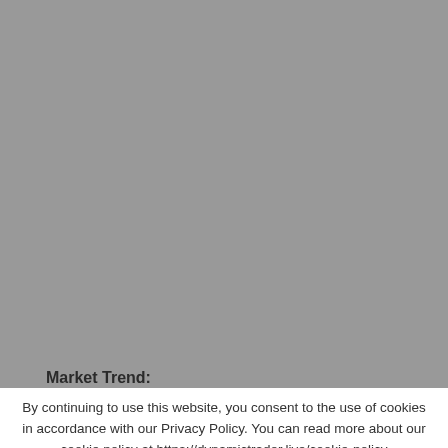[Figure (other): Gray placeholder area representing a financial market chart or graph]
Market Trend:
Up
By continuing to use this website, you consent to the use of cookies in accordance with our Privacy Policy. You can read more about our cookie policy at https://dynamictrader.live/cookie-policy